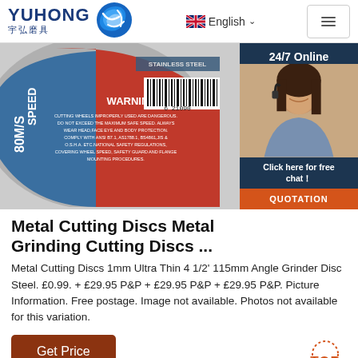YUHONG 宇弘磨具 | English | Menu
[Figure (photo): Metal cutting disc/grinding wheel with red label showing WARNING text, SPEED 80M/S, and barcode. Dark navy overlay on right side shows '24/7 Online' with woman customer service agent wearing headset, plus 'Click here for free chat!' and 'QUOTATION' button.]
Metal Cutting Discs Metal Grinding Cutting Discs ...
Metal Cutting Discs 1mm Ultra Thin 4 1/2' 115mm Angle Grinder Disc Steel. £0.99. + £29.95 P&P + £29.95 P&P + £29.95 P&P. Picture Information. Free postage. Image not available. Photos not available for this variation.
Get Price